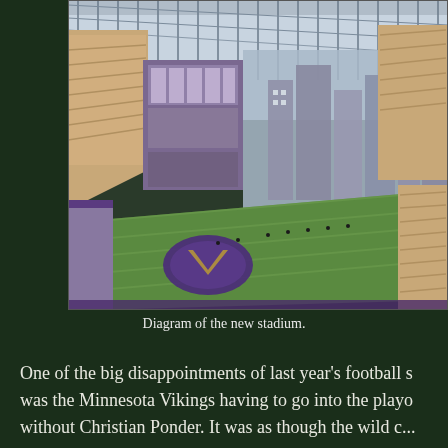[Figure (illustration): Architectural rendering/diagram of a new NFL stadium interior, showing a large indoor football field with purple Minnesota Vikings logo at midfield, surrounded by multiple tiers of seating filled with spectators. The stadium features a distinctive roof structure with steel trusses and a glass facade showing a city skyline in the background. The illustration is rendered in a painted/artistic style.]
Diagram of the new stadium.
One of the big disappointments of last year's football s... was the Minnesota Vikings having to go into the playo... without Christian Ponder. It was as though the wild c...